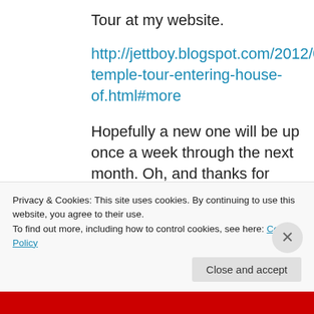Tour at my website.
http://jettboy.blogspot.com/2012/05/mormon-temple-tour-entering-house-of.html#more
Hopefully a new one will be up once a week through the next month. Oh, and thanks for your post Grace for Grace. I really don't want to step on your toes with my own discussion.
★ Like
↪ Reply
Privacy & Cookies: This site uses cookies. By continuing to use this website, you agree to their use.
To find out more, including how to control cookies, see here: Cookie Policy
Close and accept